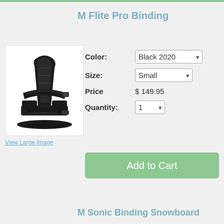M Flite Pro Binding
[Figure (photo): Black snowboard binding product photo]
View Large Image
Color: Black 2020
Size: Small
Price $ 149.95
Quantity: 1
Add to Cart
M Sonic Binding Snowboard